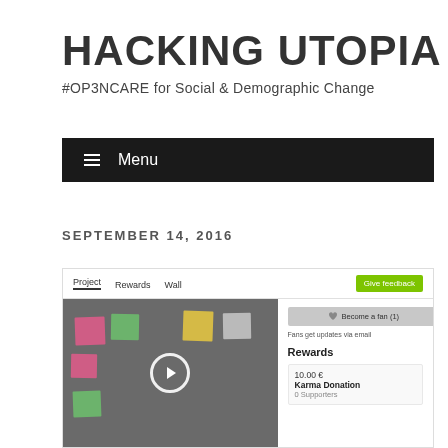HACKING UTOPIA
#OP3NCARE for Social & Demographic Change
≡ Menu
SEPTEMBER 14, 2016
[Figure (screenshot): Screenshot of a webpage with navigation tabs (Project, Rewards, Wall) and a 'Give feedback' button. Below is a video thumbnail showing colorful sticky notes on a board with a play button, and a side panel with 'Become a fan (1)', 'Fans get updates via email', 'Rewards', '10.00 € Karma Donation', '0 Supporters'.]